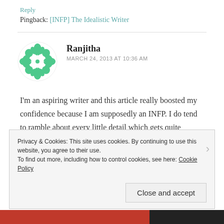Reply
Pingback: [INFP] The Idealistic Writer
Ranjitha
MARCH 24, 2013 AT 10:36 AM
[Figure (illustration): Green geometric flower/snowflake avatar icon for commenter Ranjitha]
I'm an aspiring writer and this article really boosted my confidence because I am supposedly an INFP. I do tend to ramble about every little detail which gets quite annoying. And yes, criticism isn't my favourite thing. But I
Privacy & Cookies: This site uses cookies. By continuing to use this website, you agree to their use.
To find out more, including how to control cookies, see here: Cookie Policy
Close and accept